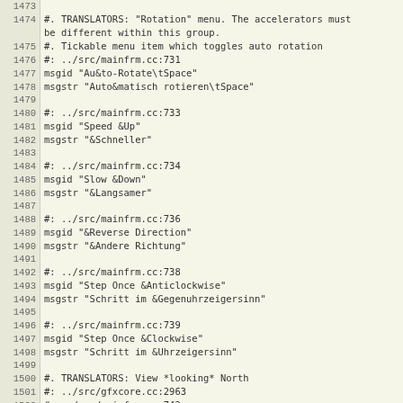| 1473 |  |
| 1474 | #. TRANSLATORS: "Rotation" menu.  The accelerators must |
|  | be different within this group. |
| 1475 | #. Tickable menu item which toggles auto rotation |
| 1476 | #: ../src/mainfrm.cc:731 |
| 1477 | msgid "Au&to-Rotate\tSpace" |
| 1478 | msgstr "Auto&matisch rotieren\tSpace" |
| 1479 |  |
| 1480 | #: ../src/mainfrm.cc:733 |
| 1481 | msgid "Speed &Up" |
| 1482 | msgstr "&Schneller" |
| 1483 |  |
| 1484 | #: ../src/mainfrm.cc:734 |
| 1485 | msgid "Slow &Down" |
| 1486 | msgstr "&Langsamer" |
| 1487 |  |
| 1488 | #: ../src/mainfrm.cc:736 |
| 1489 | msgid "&Reverse Direction" |
| 1490 | msgstr "&Andere Richtung" |
| 1491 |  |
| 1492 | #: ../src/mainfrm.cc:738 |
| 1493 | msgid "Step Once &Anticlockwise" |
| 1494 | msgstr "Schritt im &Gegenuhrzeigersinn" |
| 1495 |  |
| 1496 | #: ../src/mainfrm.cc:739 |
| 1497 | msgid "Step Once &Clockwise" |
| 1498 | msgstr "Schritt im &Uhrzeigersinn" |
| 1499 |  |
| 1500 | #. TRANSLATORS: View *looking* North |
| 1501 | #: ../src/gfxcore.cc:2963 |
| 1502 | #: ../src/mainfrm.cc:742 |
| 1503 | msgid "View &North" |
| 1504 | msgstr "Nach &Norden" |